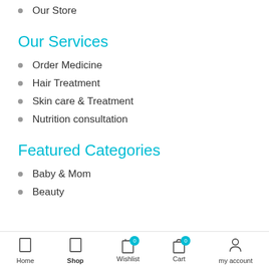Our Store
Our Services
Order Medicine
Hair Treatment
Skin care & Treatment
Nutrition consultation
Featured Categories
Baby & Mom
Beauty
Home  Shop  Wishlist 0  Cart 0  my account